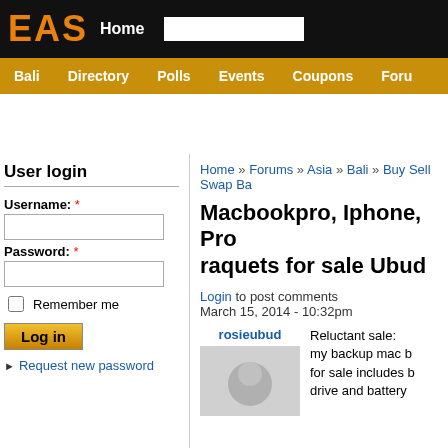EAS  Home
Bali  Directory  Polls  Events  Coupons  Foru
User login
Username: *
Password: *
Remember me
Log in
Request new password
Home » Forums » Asia » Bali » Buy Sell Swap Ba
Macbookpro, Iphone, Pro raquets for sale Ubud
Login to post comments
March 15, 2014 - 10:32pm
rosieubud
Reluctant sale: my backup mac b for sale includes b drive and battery